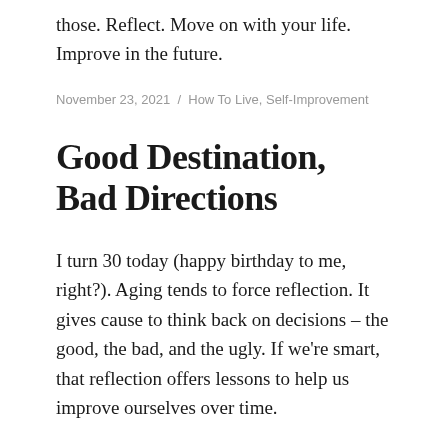those. Reflect. Move on with your life. Improve in the future.
November 23, 2021 / How To Live, Self-Improvement
Good Destination, Bad Directions
I turn 30 today (happy birthday to me, right?). Aging tends to force reflection. It gives cause to think back on decisions – the good, the bad, and the ugly. If we're smart, that reflection offers lessons to help us improve ourselves over time.